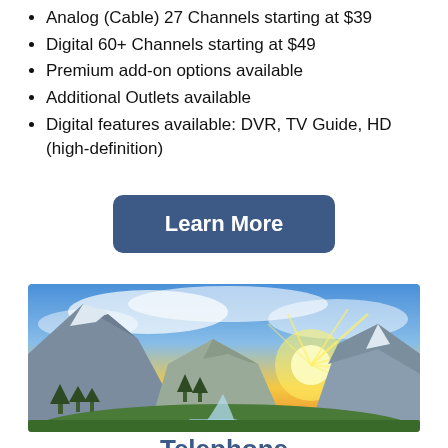Analog (Cable) 27 Channels starting at $39
Digital 60+ Channels starting at $49
Premium add-on options available
Additional Outlets available
Digital features available: DVR, TV Guide, HD (high-definition)
[Figure (other): Blue rounded-rectangle button labeled 'Learn More' in white bold text]
[Figure (photo): Panoramic mountain landscape at sunset with rocky peak, evergreen trees, waterfall, and dramatic sun rays bursting from behind clouds over snowy mountains]
Telephone
Residential Service starting at $39
Business Service starting at $49
Digital Telephone Service comes with the